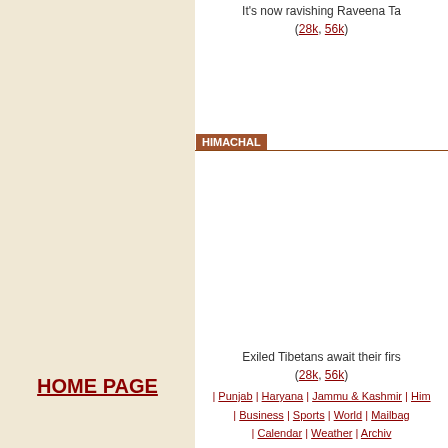It's now ravishing Raveena Ta... (28k, 56k)
HIMACHAL
Exiled Tibetans await their firs... (28k, 56k)
SPORTS
The Pakistani and Indian crick... (28k, 56k)
HOME PAGE
| Punjab | Haryana | Jammu & Kashmir | Him... | Business | Sports | World | Mailbag... | Calendar | Weather | Archiv...